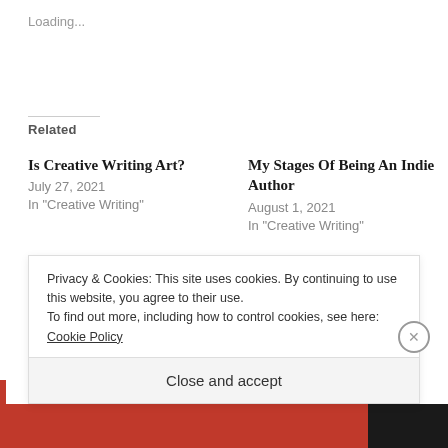Loading...
Related
Is Creative Writing Art?
July 27, 2021
In "Creative Writing"
My Stages Of Being An Indie Author
August 1, 2021
In "Creative Writing"
Answering 10 Writer Questions!
November 3, 2021
In "Creative Writing"
Privacy & Cookies: This site uses cookies. By continuing to use this website, you agree to their use.
To find out more, including how to control cookies, see here: Cookie Policy
Close and accept